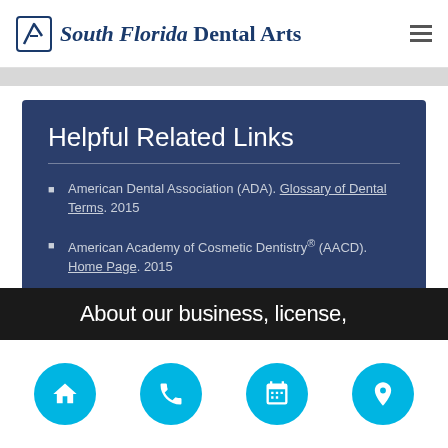South Florida Dental Arts
Helpful Related Links
American Dental Association (ADA). Glossary of Dental Terms. 2015
American Academy of Cosmetic Dentistry® (AACD). Home Page. 2015
WebMD. WebMD's Oral Care Guide. 2015
About our business, license,
Navigation icons: home, phone, calendar, location